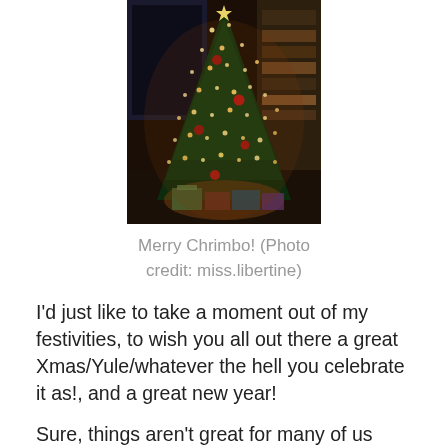[Figure (photo): A decorated Christmas tree with twinkling lights, red ornaments, and presents underneath, photographed in a dimly lit room with a window in the background.]
Merry Chrimbo! (Photo credit: miss.libertine)
I'd just like to take a moment out of my festivities, to wish you all out there a great Xmas/Yule/whatever the hell you celebrate it as!, and a great new year!
Sure, things aren't great for many of us economically, nor can it be said that things aren't really tough for the many who have experienced recent bad weather and loss of